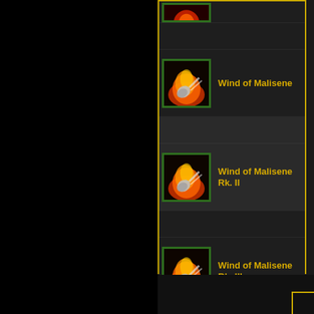[Figure (screenshot): Game UI screenshot showing a skill list with three entries: Wind of Malisene, Wind of Malisene Rk. II, Wind of Malisene Rk. III. Each entry has a fire/wind spell icon with a green border and yellow text label. The list is contained in a yellow-bordered panel on a dark background. The left portion of the image is black (cropped interface).]
Wind of Malisene
Wind of Malisene Rk. II
Wind of Malisene Rk. III